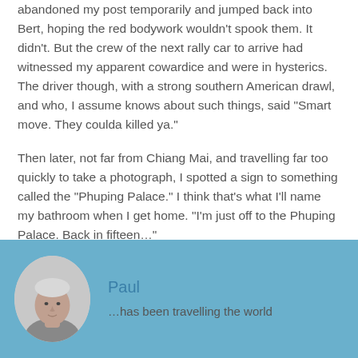abandoned my post temporarily and jumped back into Bert, hoping the red bodywork wouldn't spook them. It didn't. But the crew of the next rally car to arrive had witnessed my apparent cowardice and were in hysterics. The driver though, with a strong southern American drawl, and who, I assume knows about such things, said "Smart move. They coulda killed ya."
Then later, not far from Chiang Mai, and travelling far too quickly to take a photograph, I spotted a sign to something called the "Phuping Palace." I think that's what I'll name my bathroom when I get home. "I'm just off to the Phuping Palace. Back in fifteen…"
[Figure (photo): Author box with light blue background. Contains a circular portrait photo of Paul, an elderly man with white/grey hair, and text showing his name 'Paul' in blue and description '...has been travelling the world']